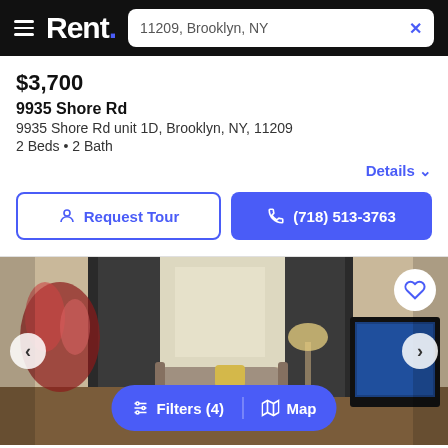Rent. — 11209, Brooklyn, NY
$3,700
9935 Shore Rd
9935 Shore Rd unit 1D, Brooklyn, NY, 11209
2 Beds • 2 Bath
Details
Request Tour
(718) 513-3763
[Figure (photo): Interior photo of an apartment living room with dark curtains, a window with natural light, upholstered chairs, flowers, and a TV on the right side.]
Filters (4)  |  Map